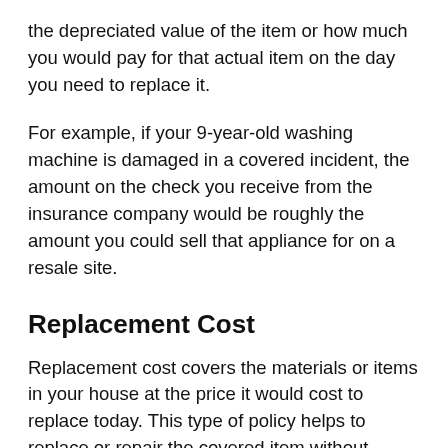the depreciated value of the item or how much you would pay for that actual item on the day you need to replace it.
For example, if your 9-year-old washing machine is damaged in a covered incident, the amount on the check you receive from the insurance company would be roughly the amount you could sell that appliance for on a resale site.
Replacement Cost
Replacement cost covers the materials or items in your house at the price it would cost to replace today. This type of policy helps to replace or repair the covered item without deducting for depreciation.